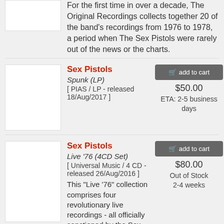For the first time in over a decade, The Original Recordings collects together 20 of the band's recordings from 1976 to 1978, a period when The Sex Pistols were rarely out of the news or the charts.
Sex Pistols
Spunk (LP)
[ PIAS / LP - released 18/Aug/2017 ]
add to cart
$50.00
ETA: 2-5 business days
Sex Pistols
Live '76 (4CD Set)
[ Universal Music / 4 CD - released 26/Aug/2016 ]
add to cart
$80.00
Out of Stock 2-4 weeks
This "Live '76" collection comprises four revolutionary live recordings - all officially sanctioned by the Sex Pistols and professionally mastered at Abbey Rd Studios and released